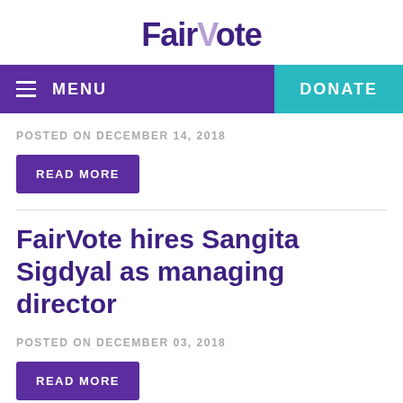FairVote
[Figure (other): Navigation bar with hamburger menu icon, MENU text on purple background, and DONATE button on teal background]
POSTED ON DECEMBER 14, 2018
READ MORE
FairVote hires Sangita Sigdyal as managing director
POSTED ON DECEMBER 03, 2018
READ MORE